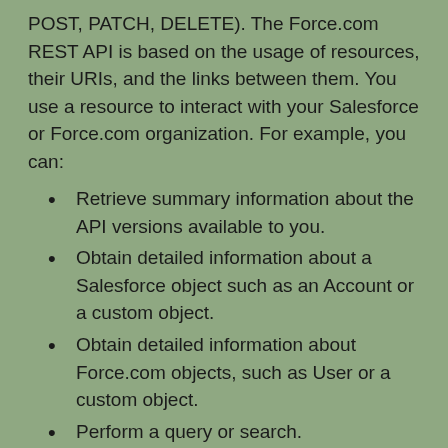POST, PATCH, DELETE). The Force.com REST API is based on the usage of resources, their URIs, and the links between them. You use a resource to interact with your Salesforce or Force.com organization. For example, you can:
Retrieve summary information about the API versions available to you.
Obtain detailed information about a Salesforce object such as an Account or a custom object.
Obtain detailed information about Force.com objects, such as User or a custom object.
Perform a query or search.
Update or delete records.
In this blog, I will be explaining how to interact with Salesforce using REST API.  I will be creating a VF page named as “RESTAPIPlayground”. On this page you can specify different parameters which is required to send HTTPRequest like Access token, end point URI (URI), HTTP